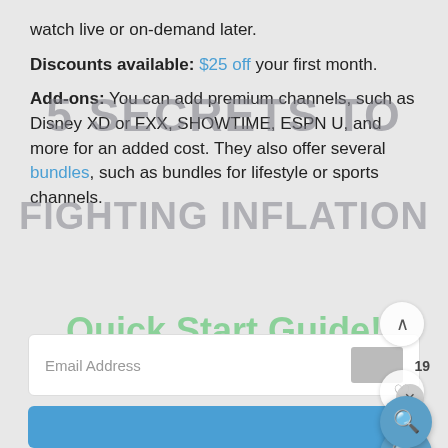watch live or on-demand later.
Discounts available: $25 off your first month.
Add-ons: You can add premium channels, such as Disney XD or FXX, SHOWTIME, ESPN U, and more for an added cost. They also offer several bundles, such as bundles for lifestyle or sports channels.
[Figure (screenshot): Watermark overlay text reading '5 SECRETS TO FIGHTING INFLATION' in semi-transparent gray, and 'Quick Start Guide!' in green, overlaid on the article content. UI elements include scroll-up button, badge showing 19, heart/like button, search button, email input field, and subscribe button.]